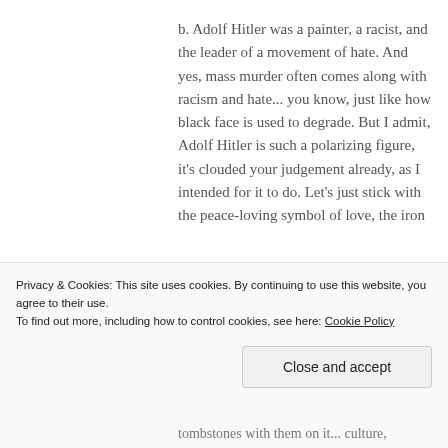b. Adolf Hitler was a painter, a racist, and the leader of a movement of hate. And yes, mass murder often comes along with racism and hate... you know, just like how black face is used to degrade. But I admit, Adolf Hitler is such a polarizing figure, it's clouded your judgement already, as I intended for it to do. Let's just stick with the peace-loving symbol of love, the iron
Privacy & Cookies: This site uses cookies. By continuing to use this website, you agree to their use. To find out more, including how to control cookies, see here: Cookie Policy
Close and accept
tombstones with them on it... culture,